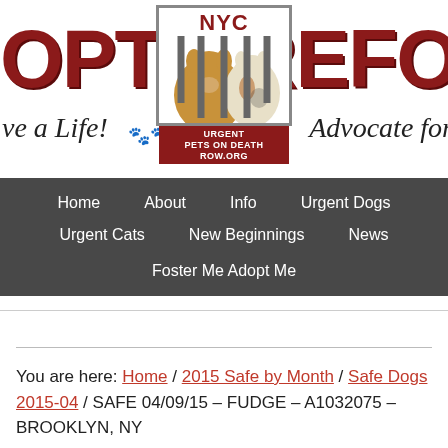[Figure (logo): NYC Urgent Pets on Death Row website header banner with 'ADOPT' and 'REFORM' text in large red letters with paw print texture, italic taglines 've a Life!' and 'Advocate for', paw print decorations, and central logo showing NYC Urgent Pets on Death Row.org with a dog and cat behind bars]
[Figure (screenshot): Navigation bar with dark gray background containing menu items: Home, About, Info, Urgent Dogs, Urgent Cats, New Beginnings, News, Foster Me Adopt Me]
You are here: Home / 2015 Safe by Month / Safe Dogs 2015-04 / SAFE 04/09/15 – FUDGE – A1032075 – BROOKLYN, NY